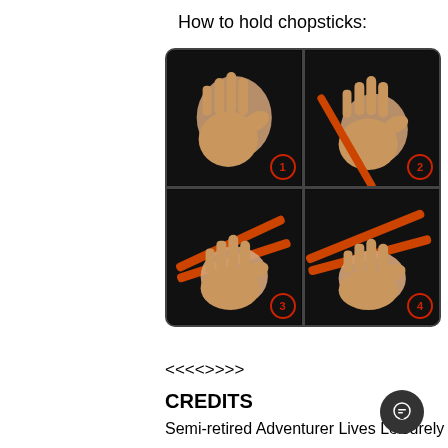How to hold chopsticks:
[Figure (illustration): Four-panel instructional illustration showing how to hold chopsticks. Panel 1: hand with fingers spread ready to hold chopstick. Panel 2: single chopstick placed between fingers. Panel 3: both chopsticks positioned in hand. Panel 4: final correct grip with both chopsticks. Each panel numbered 1-4 with red circle badges.]
<<<>>>>
CREDITS
Semi-retired Adventurer Lives Leisurely
Written by Hisagushien
Translated by: ChonkyTranslator